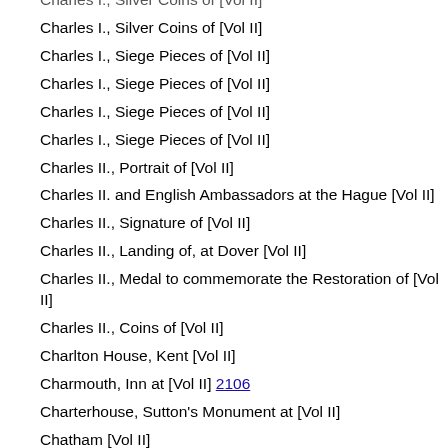Charles I., Silver Coins of [Vol II]
Charles I., Silver Coins of [Vol II]
Charles I., Siege Pieces of [Vol II]
Charles I., Siege Pieces of [Vol II]
Charles I., Siege Pieces of [Vol II]
Charles I., Siege Pieces of [Vol II]
Charles II., Portrait of [Vol II]
Charles II. and English Ambassadors at the Hague [Vol II]
Charles II., Signature of [Vol II]
Charles II., Landing of, at Dover [Vol II]
Charles II., Medal to commemorate the Restoration of [Vol II]
Charles II., Coins of [Vol II]
Charlton House, Kent [Vol II]
Charmouth, Inn at [Vol II] 2106
Charterhouse, Sutton's Monument at [Vol II]
Chatham [Vol II]